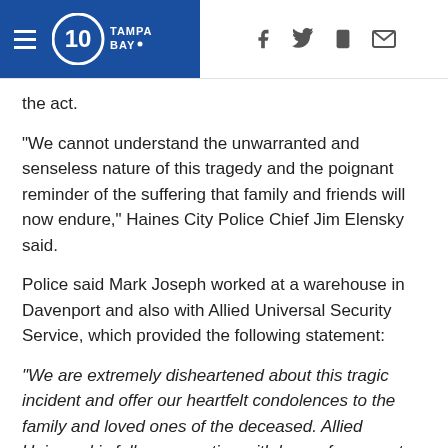10 Tampa Bay
the act.
"We cannot understand the unwarranted and senseless nature of this tragedy and the poignant reminder of the suffering that family and friends will now endure," Haines City Police Chief Jim Elensky said.
Police said Mark Joseph worked at a warehouse in Davenport and also with Allied Universal Security Service, which provided the following statement:
"We are extremely disheartened about this tragic incident and offer our heartfelt condolences to the family and loved ones of the deceased. Allied Universal is fully cooperating with law enforcement authorities in the investigation."
Deputies with the Polk County Sheriff's Office assisted police at the family's home.
What other people are reading right now: